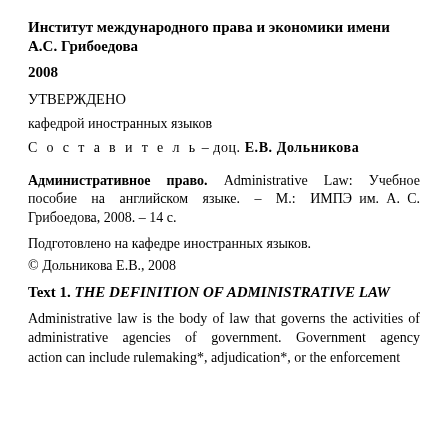Институт международного права и экономики имени А.С. Грибоедова
2008
УТВЕРЖДЕНО
кафедрой иностранных языков
С о с т а в и т е л ь – доц. Е.В. Дольникова
Административное право. Administrative Law: Учебное пособие на английском языке. – М.: ИМПЭ им. А. С. Грибоедова, 2008. – 14 с.
Подготовлено на кафедре иностранных языков.
© Дольникова Е.В., 2008
Text 1. THE DEFINITION OF ADMINISTRATIVE LAW
Administrative law is the body of law that governs the activities of administrative agencies of government. Government agency action can include rulemaking*, adjudication*, or the enforcement